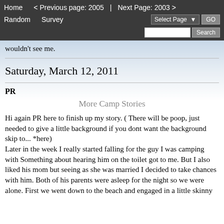Home   < Previous page: 2005  |  Next Page: 2003 >   Random   Survey   Select Page ▾  GO   Search
wouldn't see me.
Saturday, March 12, 2011
PR
More Camp Stories
Hi again PR here to finish up my story. ( There will be poop, just needed to give a little background if you dont want the background skip to... *here)
Later in the week I really started falling for the guy I was camping with Something about hearing him on the toilet got to me. But I also liked his mom but seeing as she was married I decided to take chances with him. Both of his parents were asleep for the night so we were alone. First we went down to the beach and engaged in a little skinny